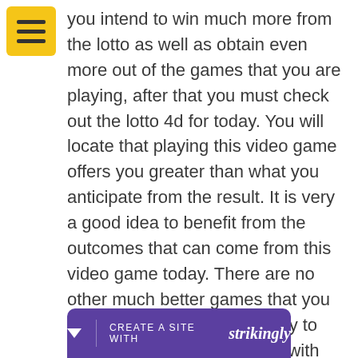[Figure (other): Yellow hamburger menu button icon in top-left corner]
you intend to win much more from the lotto as well as obtain even more out of the games that you are playing, after that you must check out the lotto 4d for today. You will locate that playing this video game offers you greater than what you anticipate from the result. It is very a good idea to benefit from the outcomes that can come from this video game today. There are no other much better games that you can play than the lotto and try to obtain a big amount of cash with this online game.
CREATE A SITE WITH strikingly